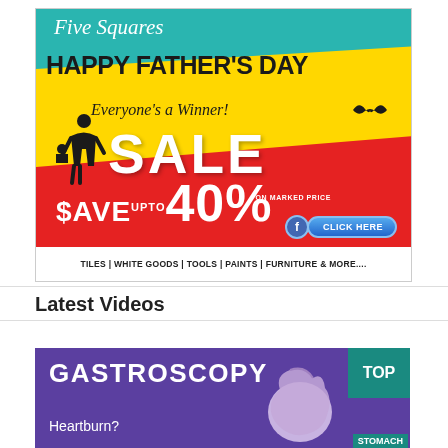[Figure (infographic): Five Squares store advertisement for Happy Father's Day sale. Features teal, yellow, and red color bands. Text: 'Five Squares', 'HAPPY FATHER'S DAY', 'Everyone's a Winner!', 'SALE', '$AVE UPTO 40%', 'ON MARKED PRICE', 'CLICK HERE', 'TILES | WHITE GOODS | TOOLS | PAINTS | FURNITURE & MORE....' with father-baby silhouette and Facebook click button.]
Latest Videos
[Figure (screenshot): Gastroscopy advertisement with purple background. Text: 'GASTROSCOPY', 'Heartburn?', 'TOP' badge in teal, stomach illustration.]